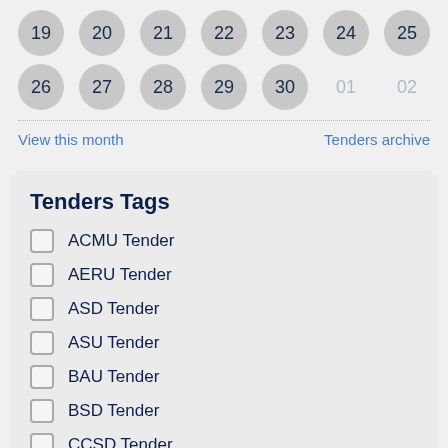[Figure (other): Calendar row showing days 19-25 as grey circles]
[Figure (other): Calendar row showing days 26-30 as grey circles, 01 and 02 as plain grey text]
View this month
Tenders archive
Tenders Tags
ACMU Tender
AERU Tender
ASD Tender
ASU Tender
BAU Tender
BSD Tender
CCSD Tender
CSRU Tender